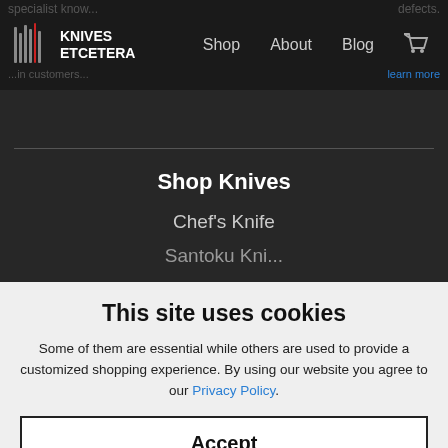KNIVES ETCETERA — Shop | About | Blog
Shop Knives
Chef's Knife
This site uses cookies
Some of them are essential while others are used to provide a customized shopping experience. By using our website you agree to our Privacy Policy.
Accept